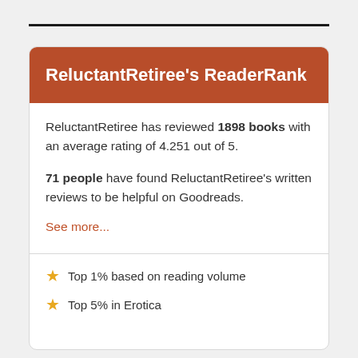ReluctantRetiree's ReaderRank
ReluctantRetiree has reviewed 1898 books with an average rating of 4.251 out of 5.
71 people have found ReluctantRetiree's written reviews to be helpful on Goodreads.
See more...
Top 1% based on reading volume
Top 5% in Erotica